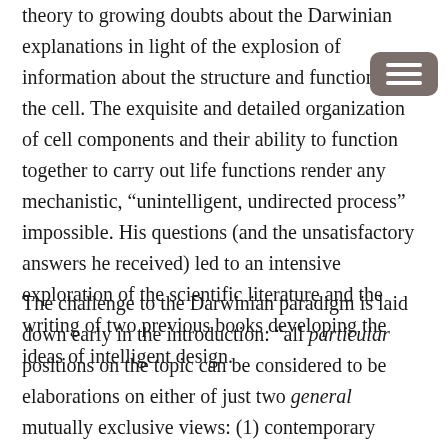theory to growing doubts about the Darwinian explanations in light of the explosion of information about the structure and functions of the cell. The exquisite and detailed organization of cell components and their ability to function together to carry out life functions render any mechanistic, “unintelligent, undirected process” impossible. His questions (and the unsatisfactory answers he received) led to an intensive exploration of the scientific literature and the writing of two previous books developing the ideas of intelligent design.
The challenge to the Darwinian paradigm is laid down early in the introduction: “all particular positions on the topic can be considered to be elaborations on either of just two general mutually exclusive views: (1) contemporary nature, including people, is an accident; and (2) contemporary nature, especially people, is largely intended—the product